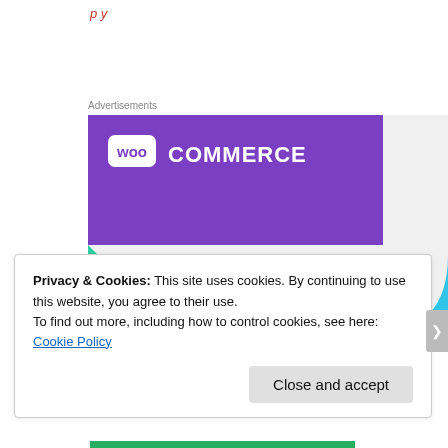Advertisements
[Figure (illustration): WooCommerce advertisement banner showing the WooCommerce logo on a purple background with teal and cyan geometric shapes, and text reading 'How to start selling subscriptions online']
Privacy & Cookies: This site uses cookies. By continuing to use this website, you agree to their use.
To find out more, including how to control cookies, see here:
Cookie Policy
Close and accept